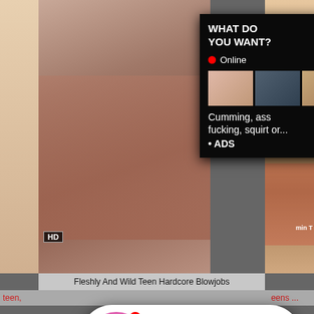[Figure (screenshot): Adult website screenshot showing video thumbnails with an advertising popup overlay. Top section shows a large video thumbnail on the left with an HD badge. On the right is an ad popup with text 'WHAT DO YOU WANT?' and a pink WATCH button, Online status indicator, three small preview thumbnails, text 'Cumming, ass fucking, squirt or...' and '• ADS'.]
WHAT DO YOU WANT?
WATCH
Online
Cumming, ass fucking, squirt or...
• ADS
Fleshly And Wild Teen Hardcore Blowjobs
teen,
eens ...
[Figure (screenshot): Chat notification popup overlay showing a circular avatar with a LIVE badge and notification dot, and a pink chat bubble with 'ADS' tag, 'Angel is typing ... 💬' and '(1) unread message']
ADS
Angel is typing ... 💬
(1) unread message
[Figure (screenshot): Bottom adult video thumbnail showing HD badge, JAVXD logo, and 5 min duration label]
HD
JAVXD
5 min